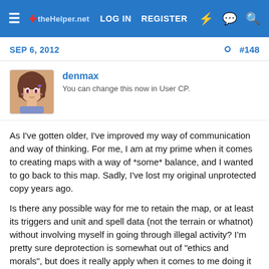LOG IN   REGISTER
SEP 6, 2012   #148
denmax
You can change this now in User CP.
As I've gotten older, I've improved my way of communication and way of thinking. For me, I am at my prime when it comes to creating maps with a way of *some* balance, and I wanted to go back to this map. Sadly, I've lost my original unprotected copy years ago.
Is there any possible way for me to retain the map, or at least its triggers and unit and spell data (not the terrain or whatnot) without involving myself in going through illegal activity? I'm pretty sure deprotection is somewhat out of "ethics and morals", but does it really apply when it comes to me doing it to my own map? It could be illegal because of use of third